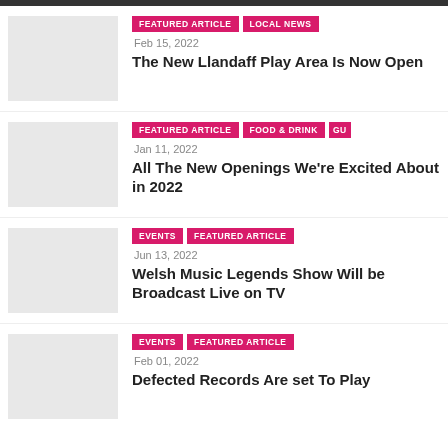FEATURED ARTICLE | LOCAL NEWS | Feb 15, 2022 | The New Llandaff Play Area Is Now Open
FEATURED ARTICLE | FOOD & DRINK | GU... | Jan 11, 2022 | All The New Openings We're Excited About in 2022
EVENTS | FEATURED ARTICLE | Jun 13, 2022 | Welsh Music Legends Show Will be Broadcast Live on TV
EVENTS | FEATURED ARTICLE | Feb 01, 2022 | Defected Records Are set To Play